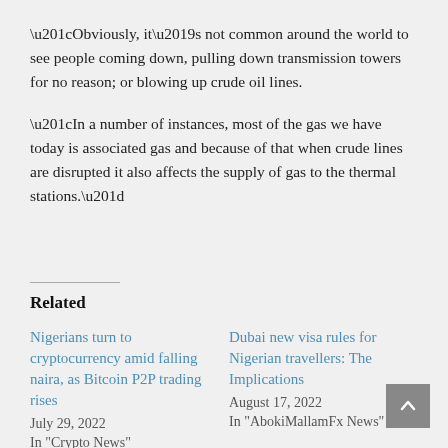“Obviously, it’s not common around the world to see people coming down, pulling down transmission towers for no reason; or blowing up crude oil lines.
“In a number of instances, most of the gas we have today is associated gas and because of that when crude lines are disrupted it also affects the supply of gas to the thermal stations.”
Related
Nigerians turn to cryptocurrency amid falling naira, as Bitcoin P2P trading rises
July 29, 2022
In "Crypto News"
Dubai new visa rules for Nigerian travellers: The Implications
August 17, 2022
In "AbokiMallamFx News"
How Nigerian travellers...